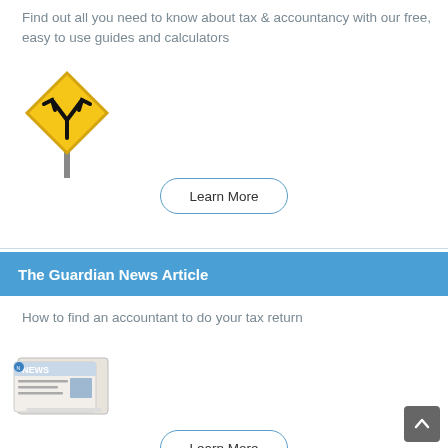Find out all you need to know about tax & accountancy with our free, easy to use guides and calculators
[Figure (illustration): Yellow diamond road sign with a Y-fork arrow symbol on a pole]
Learn More
The Guardian News Article
How to find an accountant to do your tax return
[Figure (illustration): Newspaper illustration labeled NEWS]
Learn More